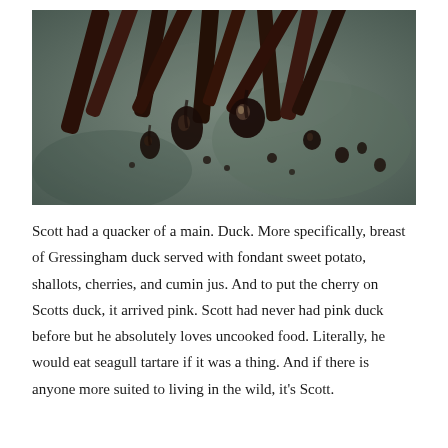[Figure (photo): Close-up macro photograph of dark brown dried food items (possibly vanilla pods or dark spices) with dark liquid droplets scattered on a muted grey-green surface.]
Scott had a quacker of a main. Duck. More specifically, breast of Gressingham duck served with fondant sweet potato, shallots, cherries, and cumin jus. And to put the cherry on Scotts duck, it arrived pink. Scott had never had pink duck before but he absolutely loves uncooked food. Literally, he would eat seagull tartare if it was a thing. And if there is anyone more suited to living in the wild, it's Scott.